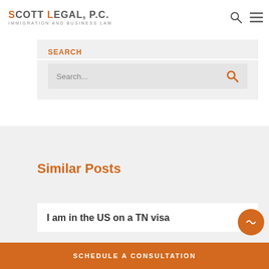SCOTT LEGAL, P.C. IMMIGRATION AND BUSINESS LAW
SEARCH
Search...
Similar Posts
I am in the US on a TN visa
SCHEDULE A CONSULTATION